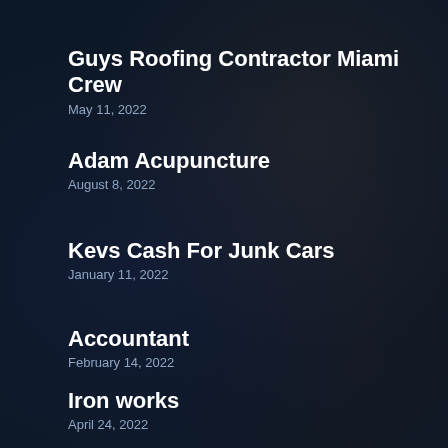Guys Roofing Contractor Miami Crew
May 11, 2022
Adam Acupuncture
August 8, 2022
Kevs Cash For Junk Cars
January 11, 2022
Accountant
February 14, 2022
Iron works
April 24, 2022